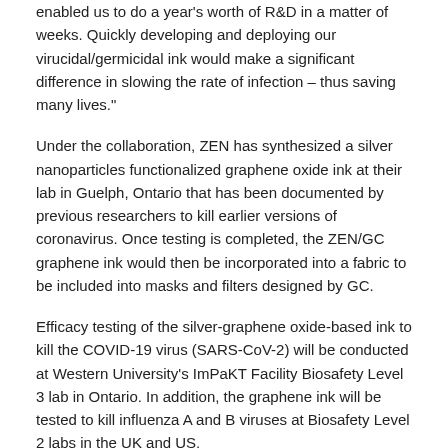enabled us to do a year's worth of R&D in a matter of weeks. Quickly developing and deploying our virucidal/germicidal ink would make a significant difference in slowing the rate of infection – thus saving many lives."
Under the collaboration, ZEN has synthesized a silver nanoparticles functionalized graphene oxide ink at their lab in Guelph, Ontario that has been documented by previous researchers to kill earlier versions of coronavirus. Once testing is completed, the ZEN/GC graphene ink would then be incorporated into a fabric to be included into masks and filters designed by GC.
Efficacy testing of the silver-graphene oxide-based ink to kill the COVID-19 virus (SARS-CoV-2) will be conducted at Western University's ImPaKT Facility Biosafety Level 3 lab in Ontario. In addition, the graphene ink will be tested to kill influenza A and B viruses at Biosafety Level 2 labs in the UK and US.
[Figure (infographic): Social media share icons: Facebook (dark blue), Twitter (light blue), YouTube (red with white text), LinkedIn (teal/blue), Reddit (orange)]